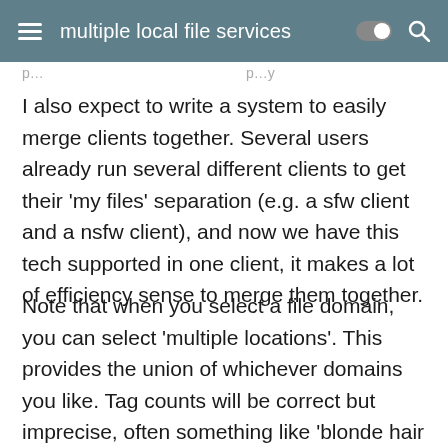multiple local file services
I also expect to write a system to easily merge clients together. Several users already run several different clients to get their 'my files' separation (e.g. a sfw client and a nsfw client), and now we have this tech supported in one client, it makes a lot of efficiency sense to merge them together.
Note that when you select a file domain, you can select 'multiple locations'. This provides the union of whichever domains you like. Tag counts will be correct but imprecise, often something like 'blonde hair (2-5)', meaning 'between two and five files', due to the complexity of quickly counting within these complicated domains.
As soon as you add another local file service, you will also see a 'all my files' service listed in the file domain selector